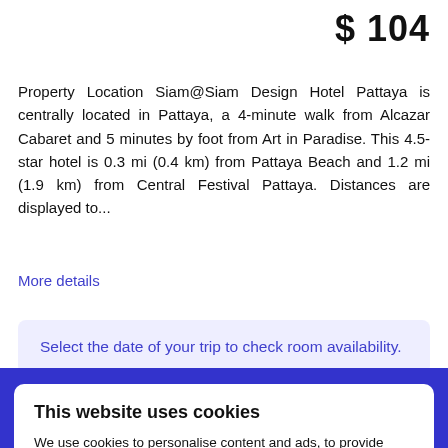$ 104
Property Location Siam@Siam Design Hotel Pattaya is centrally located in Pattaya, a 4-minute walk from Alcazar Cabaret and 5 minutes by foot from Art in Paradise. This 4.5-star hotel is 0.3 mi (0.4 km) from Pattaya Beach and 1.2 mi (1.9 km) from Central Festival Pattaya. Distances are displayed to...
More details
Select the date of your trip to check room availability.
This website uses cookies
We use cookies to personalise content and ads, to provide social media features and to analyse our traffic...